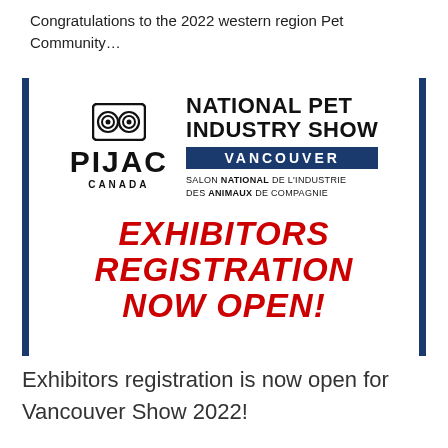Congratulations to the 2022 western region Pet Community…
[Figure (logo): PIJAC Canada National Pet Industry Show Vancouver poster with owl logo, blue border, and red 'EXHIBITORS REGISTRATION NOW OPEN!' text]
Exhibitors registration is now open for Vancouver Show 2022!